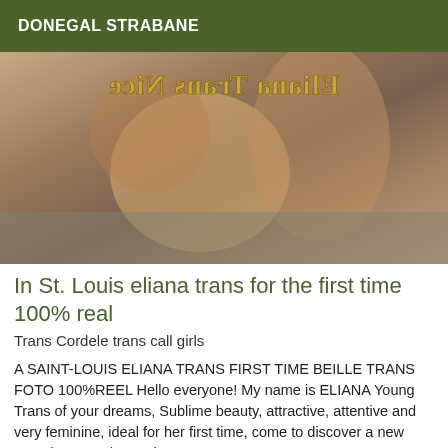DONEGAL STRABANE
[Figure (photo): A photo with a mirrored watermark text reading 'Eliana Trans Nice' in gold lettering overlaid on a blurred background image.]
In St. Louis eliana trans for the first time 100% real
Trans Cordele trans call girls
A SAINT-LOUIS ELIANA TRANS FIRST TIME BEILLE TRANS FOTO 100%REEL Hello everyone! My name is ELIANA Young Trans of your dreams, Sublime beauty, attractive, attentive and very feminine, ideal for her first time, come to discover a new experience and spend a